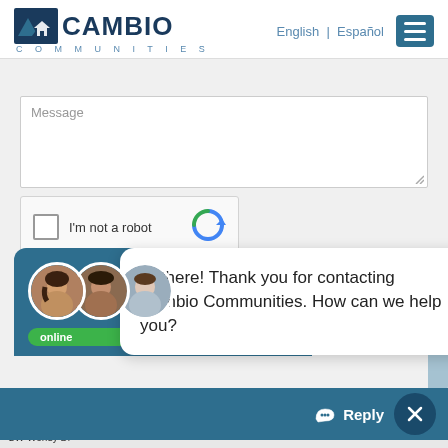[Figure (screenshot): Cambio Communities website header with logo (mountain/house icon), navigation showing English | Español language toggle, and hamburger menu button]
Message
[Figure (screenshot): reCAPTCHA widget with checkbox labeled I'm not a robot and reCAPTCHA logo]
[Figure (screenshot): Live chat overlay showing agent avatars with online badge and chat bubble: Hi there! Thank you for contacting Cambio Communities. How can we help you?]
Hi there! Thank you for contacting Cambio Communities. How can we help you?
Reply
SW Wendy Dr